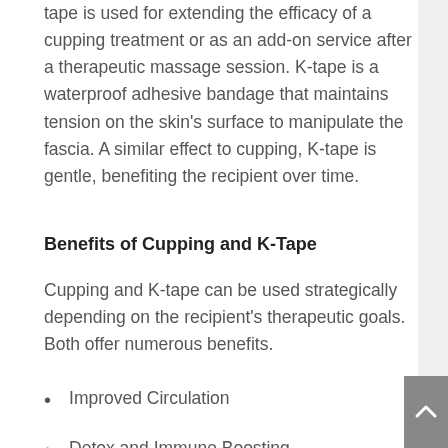tape is used for extending the efficacy of a cupping treatment or as an add-on service after a therapeutic massage session. K-tape is a waterproof adhesive bandage that maintains tension on the skin's surface to manipulate the fascia. A similar effect to cupping, K-tape is gentle, benefiting the recipient over time.
Benefits of Cupping and K-Tape
Cupping and K-tape can be used strategically depending on the recipient's therapeutic goals. Both offer numerous benefits.
Improved Circulation
Detox and Immune Boosting
Cellulite